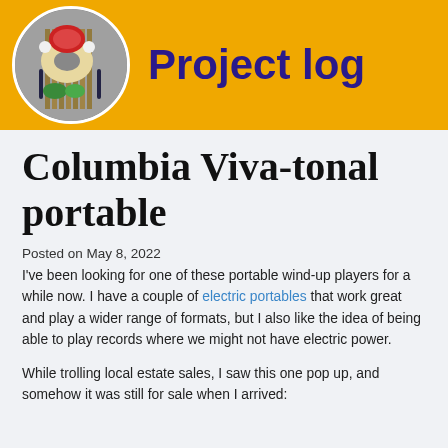Project log
Columbia Viva-tonal portable
Posted on May 8, 2022
I've been looking for one of these portable wind-up players for a while now. I have a couple of electric portables that work great and play a wider range of formats, but I also like the idea of being able to play records where we might not have electric power.
While trolling local estate sales, I saw this one pop up, and somehow it was still for sale when I arrived: